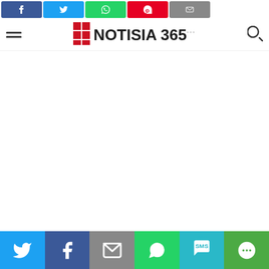[Figure (screenshot): Top social share buttons bar with Facebook (blue), Twitter (light blue), WhatsApp (green), Pinterest (red), Email (grey) icon buttons]
[Figure (logo): Notisia 365 website logo with red grid icon and bold text 'NOTISIA 365' with ellipsis superscript, hamburger menu on left and search icon on right]
[Figure (screenshot): Bottom social sharing bar with Twitter, Facebook, Email, WhatsApp, SMS, and More buttons in colored blocks with white icons]